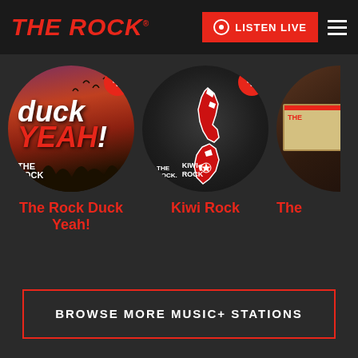THE ROCK.  LISTEN LIVE
[Figure (screenshot): Station card for 'The Rock Duck Yeah!' — circular image with duck/sunset background, text 'duck YEAH! THE ROCK' and a red plus badge]
The Rock Duck Yeah!
[Figure (screenshot): Station card for 'Kiwi Rock' — circular black vinyl record with New Zealand map overlaid in NZ flag design, 'THE ROCK KIWI ROCK' labels, red plus badge]
Kiwi Rock
[Figure (screenshot): Partially visible station card — circular image showing a cassette tape with 'THE' visible]
The
BROWSE MORE MUSIC+ STATIONS